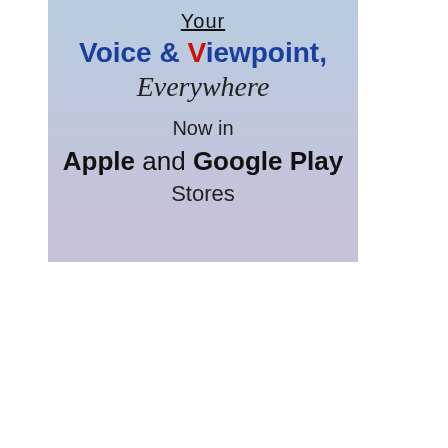[Figure (infographic): Advertisement with gradient blue-purple background showing text: 'Your Voice & Viewpoint, Everywhere — Now in Apple and Google Play Stores']
Your Voice & Viewpoint, Everywhere
Now in Apple and Google Play Stores